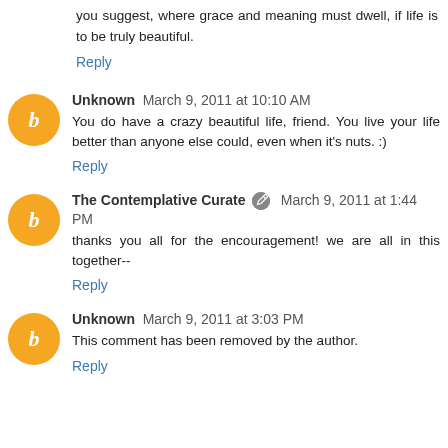you suggest, where grace and meaning must dwell, if life is to be truly beautiful.
Reply
Unknown  March 9, 2011 at 10:10 AM
You do have a crazy beautiful life, friend. You live your life better than anyone else could, even when it's nuts. :)
Reply
The Contemplative Curate  March 9, 2011 at 1:44 PM
thanks you all for the encouragement! we are all in this together--
Reply
Unknown  March 9, 2011 at 3:03 PM
This comment has been removed by the author.
Reply